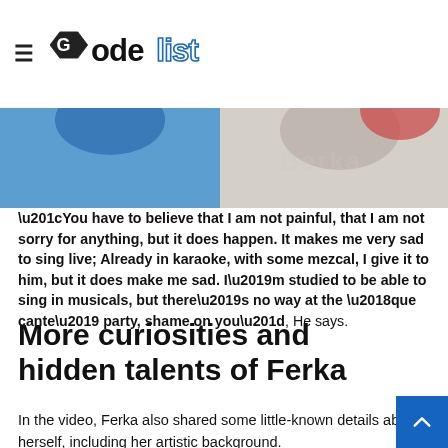Codelist
[Figure (photo): Cropped image showing people/figures at the top of the article page, partially visible below the header]
“You have to believe that I am not painful, that I am not sorry for anything, but it does happen. It makes me very sad to sing live; Already in karaoke, with some mezcal, I give it to him, but it does make me sad. I’m studied to be able to sing in musicals, but there’s no way at the ‘que cante’ party, shame on you”, He says.
More curiosities and hidden talents of Ferka
In the video, Ferka also shared some little-known details about herself, including her artistic background.